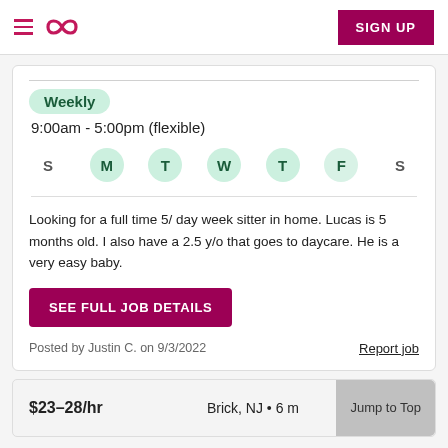Care.com navigation bar with hamburger menu, infinity logo, and SIGN UP button
Weekly
9:00am - 5:00pm (flexible)
S M T W T F S (days of week, M T W T F highlighted)
Looking for a full time 5/ day week sitter in home. Lucas is 5 months old. I also have a 2.5 y/o that goes to daycare. He is a very easy baby.
SEE FULL JOB DETAILS
Posted by Justin C. on 9/3/2022
Report job
$23–28/hr   Brick, NJ • 6 m   Jump to Top